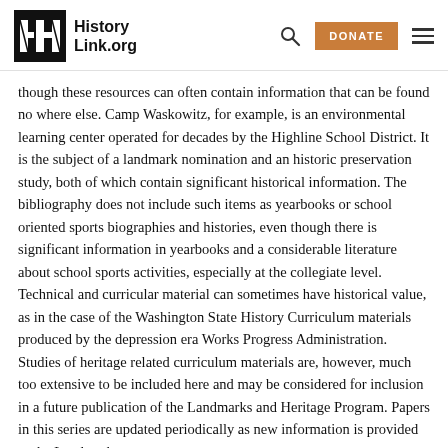HistoryLink.org
though these resources can often contain information that can be found no where else. Camp Waskowitz, for example, is an environmental learning center operated for decades by the Highline School District. It is the subject of a landmark nomination and an historic preservation study, both of which contain significant historical information. The bibliography does not include such items as yearbooks or school oriented sports biographies and histories, even though there is significant information in yearbooks and a considerable literature about school sports activities, especially at the collegiate level. Technical and curricular material can sometimes have historical value, as in the case of the Washington State History Curriculum materials produced by the depression era Works Progress Administration. Studies of heritage related curriculum materials are, however, much too extensive to be included here and may be considered for inclusion in a future publication of the Landmarks and Heritage Program. Papers in this series are updated periodically as new information is provided to the Landmarks